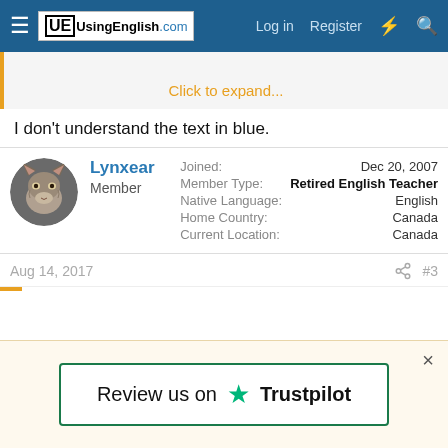UsingEnglish.com — Log in  Register
Click to expand...
I don't understand the text in blue.
Lynxear
Member
Joined: Dec 20, 2007
Member Type: Retired English Teacher
Native Language: English
Home Country: Canada
Current Location: Canada
Aug 14, 2017   #3
[Figure (other): Trustpilot review prompt banner: 'Review us on ★ Trustpilot' inside a green-bordered box on a cream background, with an × close button.]